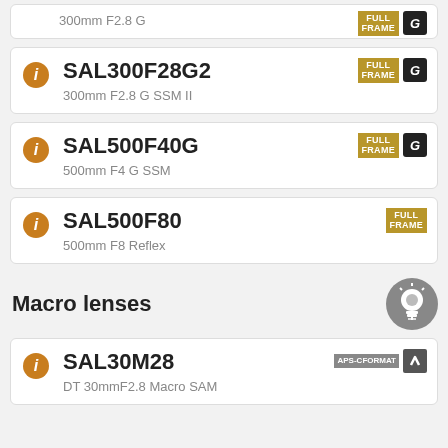SAL300F28G - 300mm F2.8 G (FULL FRAME, G)
SAL300F28G2 - 300mm F2.8 G SSM II (FULL FRAME, G)
SAL500F40G - 500mm F4 G SSM (FULL FRAME, G)
SAL500F80 - 500mm F8 Reflex (FULL FRAME)
Macro lenses
SAL30M28 - DT 30mmF2.8 Macro SAM (APS-C FORMAT)